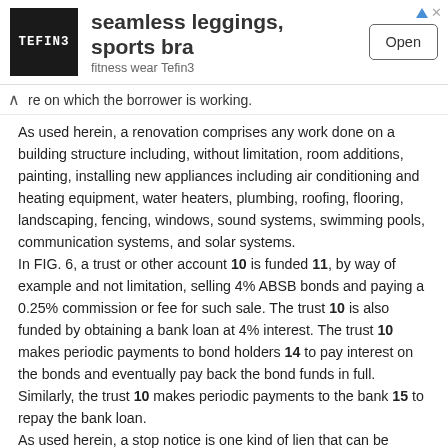[Figure (other): Advertisement banner for Tefin3 fitness wear showing logo, product text 'seamless leggings, sports bra', subtitle 'fitness wear Tefin3', and an 'Open' button]
re on which the borrower is working.
As used herein, a renovation comprises any work done on a building structure including, without limitation, room additions, painting, installing new appliances including air conditioning and heating equipment, water heaters, plumbing, roofing, flooring, landscaping, fencing, windows, sound systems, swimming pools, communication systems, and solar systems.
In FIG. 6, a trust or other account 10 is funded 11, by way of example and not limitation, selling 4% ABSB bonds and paying a 0.25% commission or fee for such sale. The trust 10 is also funded by obtaining a bank loan at 4% interest. The trust 10 makes periodic payments to bond holders 14 to pay interest on the bonds and eventually pay back the bond funds in full. Similarly, the trust 10 makes periodic payments to the bank 15 to repay the bank loan.
As used herein, a stop notice is one kind of lien that can be assigned by a vendor to the lender. A stop notice is a collection remedy that consists of a demand that a home owner or construction lender immediately withhold